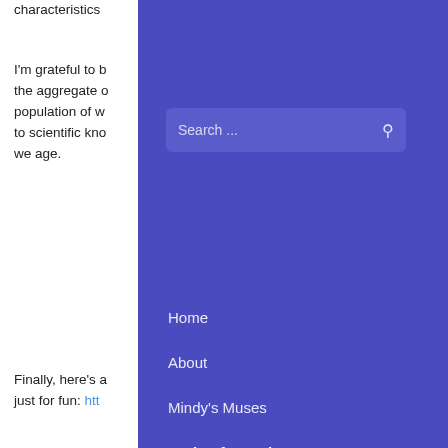characteristics
I'm grateful to b... the aggregate ... population of w... to scientific kno... we age.
Finally, here's a... just for fun: htt...
[1] Fictitious C... [2] The SWAN... Institute on A... Nursing Rese... Health (NIH),... and the Natio... Alternative M...
[Figure (screenshot): Purple navigation overlay panel with search bar and menu items: Home, About, Mindy's Muses, Caring for Red (bold, with caret), The Shape of Care, Arbor Consulting Partners, IP Porchfest]